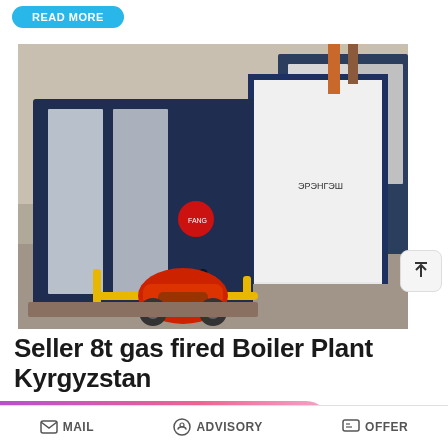[Figure (screenshot): Top navigation bar with a cyan 'READ MORE' rounded button]
[Figure (photo): Industrial gas-fired boiler plant equipment in a factory setting. Shows large dark blue and silver box-shaped boiler units with a red burner component and yellow piping in the foreground.]
Seller 8t gas fired Boiler Plant Kyrgyzstan
[Figure (infographic): WhatsApp 'Save Stickers' promotional banner overlay with green phone icon and pink emoji icon, partially covering description text about Boiler Plant High Efficiency Kyrgyzstan and boiler for paper industries 8t coal]
r Plant High Efficiency Kyrgyzstan. oiler for paper industries. 8t coal
MAIL   ADVISORY   OFFER